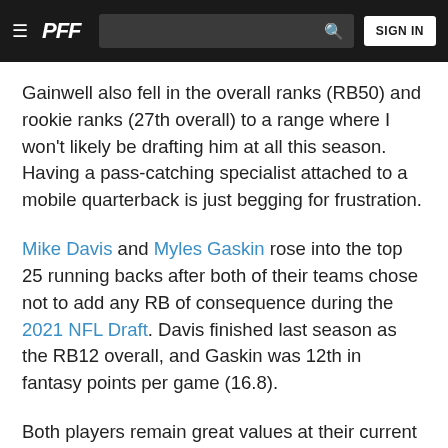PFF — Navigation bar with hamburger menu, PFF logo, search bar, and SIGN IN button
Gainwell also fell in the overall ranks (RB50) and rookie ranks (27th overall) to a range where I won't likely be drafting him at all this season. Having a pass-catching specialist attached to a mobile quarterback is just begging for frustration.
Mike Davis and Myles Gaskin rose into the top 25 running backs after both of their teams chose not to add any RB of consequence during the 2021 NFL Draft. Davis finished last season as the RB12 overall, and Gaskin was 12th in fantasy points per game (16.8).
Both players remain great values at their current ADPs. The Atlanta and Miami offenses on an upward trajectory, so RB1 upside is well within range for both of these backs.